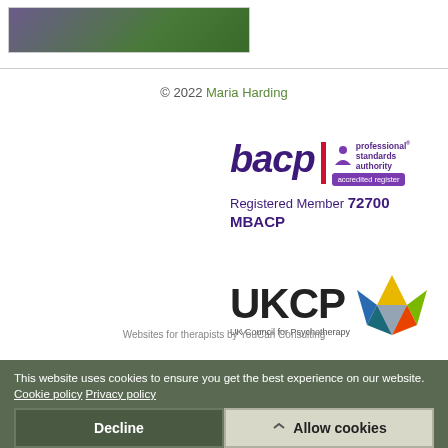[Figure (photo): Partial image of purple flowers on dark green background, shown in a framed box at top left]
© 2022 Maria Harding
[Figure (logo): BACP logo with Professional Standards Authority accredited register badge. Text reads: Registered Member 72700 MBACP]
[Figure (logo): UKCP - UK Council for Psychotherapy logo with multi-colored star graphic]
Websites for therapists by YouCan Consulting
This website uses cookies to ensure you get the best experience on our website. Cookie policy  Privacy policy
Decline
Allow cookies